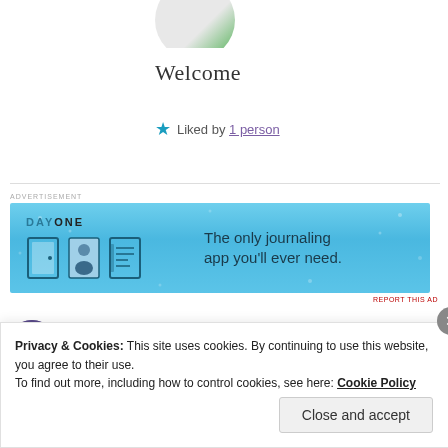[Figure (photo): Cropped circular avatar photo with green element visible at top edge]
Welcome
★ Liked by 1 person
[Figure (infographic): DayOne app advertisement banner — blue background with app icons and text: 'The only journaling app you'll ever need.']
REPORT THIS AD
SAMYAK SINGH
Privacy & Cookies: This site uses cookies. By continuing to use this website, you agree to their use.
To find out more, including how to control cookies, see here: Cookie Policy
Close and accept